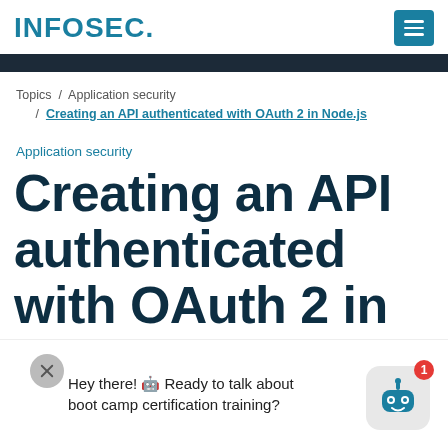INFOSEC.
Topics / Application security / Creating an API authenticated with OAuth 2 in Node.js
Application security
Creating an API authenticated with OAuth 2 in Node.js
Hey there! 🤖 Ready to talk about boot camp certification training?